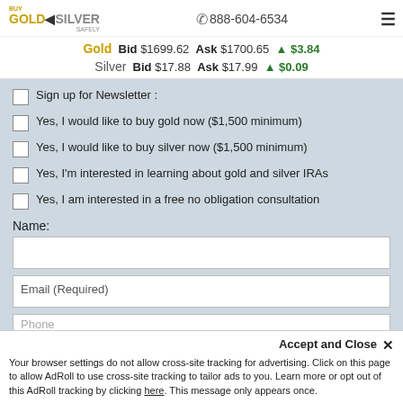Buy Gold & Silver Safely | 888-604-6534
Gold Bid $1699.62 Ask $1700.65 ▲ $3.84
Silver Bid $17.88 Ask $17.99 ▲ $0.09
Sign up for Newsletter :
Yes, I would like to buy gold now ($1,500 minimum)
Yes, I would like to buy silver now ($1,500 minimum)
Yes, I'm interested in learning about gold and silver IRAs
Yes, I am interested in a free no obligation consultation
Name:
Email (Required)
Phone
Accept and Close ✕
Your browser settings do not allow cross-site tracking for advertising. Click on this page to allow AdRoll to use cross-site tracking to tailor ads to you. Learn more or opt out of this AdRoll tracking by clicking here. This message only appears once.